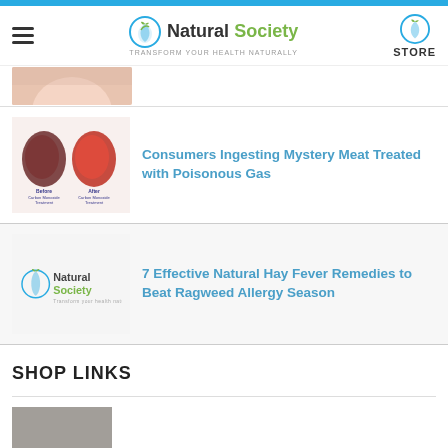Natural Society — Transform your health naturally
[Figure (photo): Partial image of a person, cropped at top of article listing]
Consumers Ingesting Mystery Meat Treated with Poisonous Gas
[Figure (photo): Before and after images of meat treated with Carbon Monoxide Treatment]
7 Effective Natural Hay Fever Remedies to Beat Ragweed Allergy Season
[Figure (logo): Natural Society logo — Transform your health naturally]
SHOP LINKS
USDA Organic 40 Days Storeable Food
[Figure (photo): Gray/brown product image thumbnail]